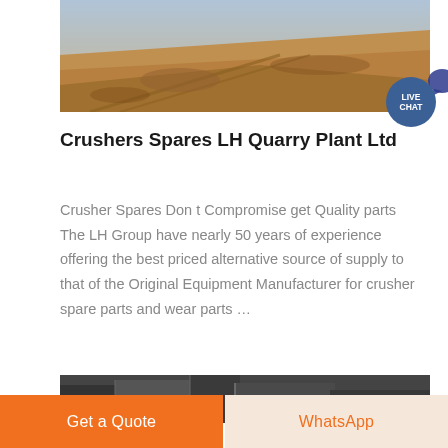[Figure (photo): Aerial or ground-level view of a quarry or open-pit mine with sandy/earthy terrain and tracks]
Crushers Spares LH Quarry Plant Ltd
Crusher Spares Don t Compromise get Quality parts The LH Group have nearly 50 years of experience offering the best priced alternative source of supply to that of the Original Equipment Manufacturer for crusher spare parts and wear parts …
[Figure (photo): Close-up black and white photo of crusher or quarry machinery parts]
Get a Quote | WhatsApp